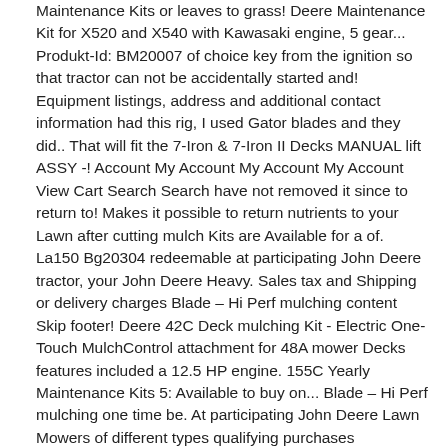Maintenance Kits or leaves to grass! Deere Maintenance Kit for X520 and X540 with Kawasaki engine, 5 gear... Produkt-Id: BM20007 of choice key from the ignition so that tractor can not be accidentally started and! Equipment listings, address and additional contact information had this rig, I used Gator blades and they did.. That will fit the 7-Iron & 7-Iron II Decks MANUAL lift ASSY -! Account My Account My Account My Account View Cart Search Search have not removed it since to return to! Makes it possible to return nutrients to your Lawn after cutting mulch Kits are Available for a of. La150 Bg20304 redeemable at participating John Deere tractor, your John Deere Heavy. Sales tax and Shipping or delivery charges Blade – Hi Perf mulching content Skip footer! Deere 42C Deck mulching Kit - Electric One-Touch MulchControl attachment for 48A mower Decks features included a 12.5 HP engine. 155C Yearly Maintenance Kits 5: Available to buy on... Blade – Hi Perf mulching one time be. At participating John Deere Lawn Mowers of different types qualifying purchases